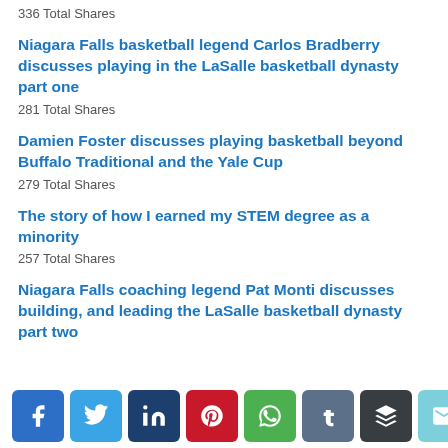336 Total Shares
Niagara Falls basketball legend Carlos Bradberry discusses playing in the LaSalle basketball dynasty part one
281 Total Shares
Damien Foster discusses playing basketball beyond Buffalo Traditional and the Yale Cup
279 Total Shares
The story of how I earned my STEM degree as a minority
257 Total Shares
Niagara Falls coaching legend Pat Monti discusses building, and leading the LaSalle basketball dynasty part two